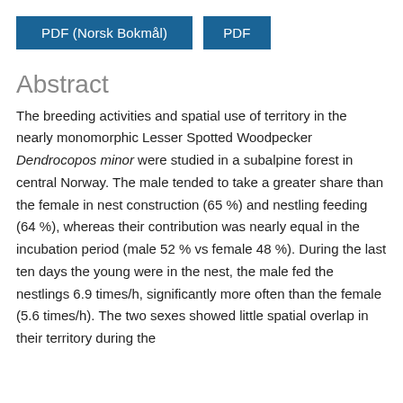[Figure (other): Two blue buttons labeled 'PDF (Norsk Bokmål)' and 'PDF']
Abstract
The breeding activities and spatial use of territory in the nearly monomorphic Lesser Spotted Woodpecker Dendrocopos minor were studied in a subalpine forest in central Norway. The male tended to take a greater share than the female in nest construction (65 %) and nestling feeding (64 %), whereas their contribution was nearly equal in the incubation period (male 52 % vs female 48 %). During the last ten days the young were in the nest, the male fed the nestlings 6.9 times/h, significantly more often than the female (5.6 times/h). The two sexes showed little spatial overlap in their territory during the